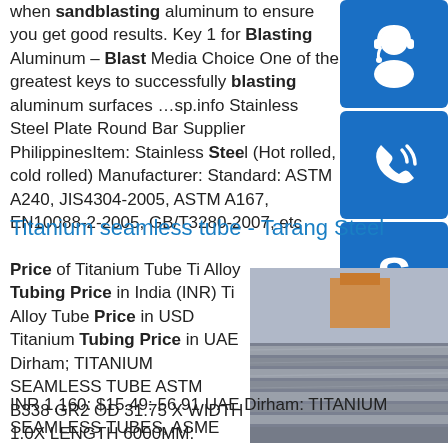when sandblasting aluminum to ensure you get good results. Key 1 for Blasting Aluminum – Blast Media Choice One of the greatest keys to successfully blasting aluminum surfaces …sp.info Stainless Steel Plate Round Bar Supplier PhilippinesItem: Stainless Steel (Hot rolled, cold rolled) Manufacturer: Standard: ASTM A240, JIS4304-2005, ASTM A167, EN10088-2-2005, GB/T3280-2007, etc
[Figure (illustration): Blue button with headset/customer support icon]
[Figure (illustration): Blue button with phone/call icon]
[Figure (illustration): Blue button with Skype icon]
Titanium seamless tube - Tarang Steel
Price of Titanium Tube Ti Alloy Tubing Price in India (INR) Ti Alloy Tube Price in USD Titanium Tubing Price in UAE Dirham; TITANIUM SEAMLESS TUBE ASTM B338 GR2 OD 31.75 X WIDTH 1.0X LENGTH 6000MM: INR 1,160: $15.49: 56.91 UAE Dirham: TITANIUM SEAMLESS TUBES, ASME
[Figure (photo): Stack of metal/steel plates photographed from a low angle with motion blur effect]